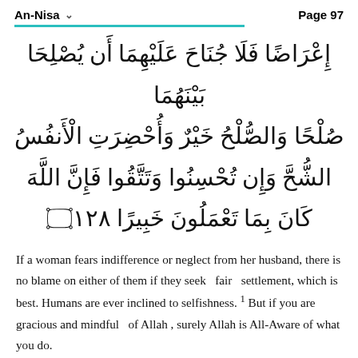An-Nisa   Page 97
إِعْرَاضًا فَلَا جُنَاحَ عَلَيْهِمَا أَن يُصْلِحَا بَيْنَهُمَا صُلْحًا وَالصُّلْحُ خَيْرٌ وَأُحْضِرَتِ الْأَنفُسُ الشُّحَّ وَإِن تُحْسِنُوا وَتَتَّقُوا فَإِنَّ اللَّهَ كَانَ بِمَا تَعْمَلُونَ خَبِيرًا ۝١٢٨
If a woman fears indifference or neglect from her husband, there is no blame on either of them if they seek fair settlement, which is best. Humans are ever inclined to selfishness. 1 But if you are gracious and mindful of Allah , surely Allah is All-Aware of what you do.